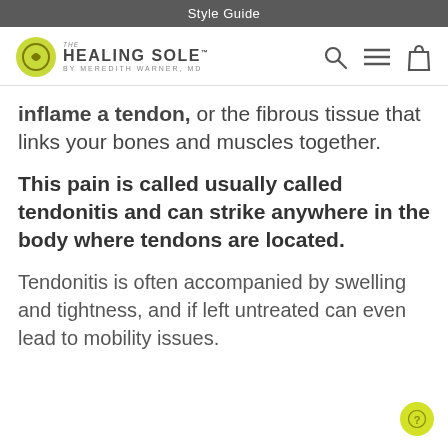Style Guide
[Figure (logo): The Healing Sole by Meredith Warner, MD logo with yellow circular icon and navigation icons (search, menu, bag)]
inflame a tendon, or the fibrous tissue that links your bones and muscles together.
This pain is called usually called tendonitis and can strike anywhere in the body where tendons are located.
Tendonitis is often accompanied by swelling and tightness, and if left untreated can even lead to mobility issues.